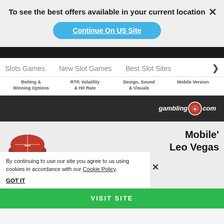To see the best offers available in your current location
Continue On US Site
Slots Games   New Slot Games   Best Slot Sites  >
Betting & Winning Options   RTP, Volatility & Hit Rate   Design, Sound & Visuals   Mobile Version
[Figure (logo): gambling.com logo with casino chip icon on dark bar]
[Figure (logo): Partial casino logo (roulette wheel top)]
Mobile' Leo Vegas
By continuing to use our site you agree to us using cookies in accordance with our Cookie Policy.
GOT IT
VISIT SITE